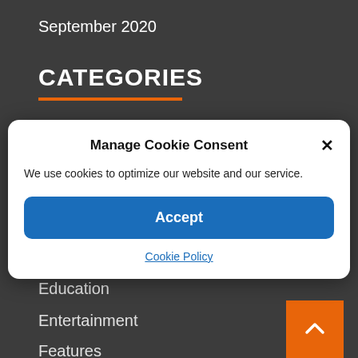September 2020
CATEGORIES
[Figure (screenshot): Manage Cookie Consent modal dialog with Accept button and Cookie Policy link on a dark website background showing categories list including Education, Entertainment, Features, Health]
Manage Cookie Consent
We use cookies to optimize our website and our service.
Accept
Cookie Policy
Education
Entertainment
Features
Health